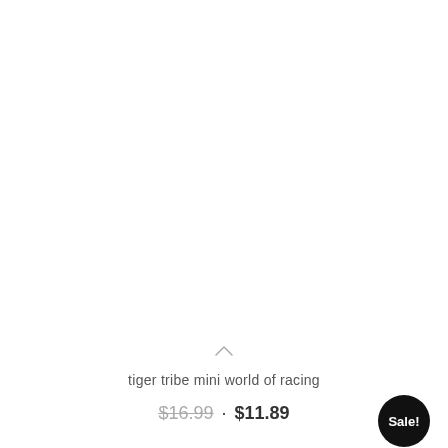[Figure (photo): Product image area (white/blank) for tiger tribe mini world of racing product]
tiger tribe mini world of racing
$16.99 · $11.89
Sale!